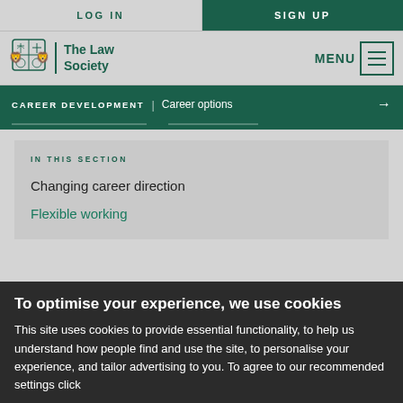LOG IN
SIGN UP
[Figure (logo): The Law Society logo with heraldic crest and text 'The Law Society']
MENU
CAREER DEVELOPMENT | Career options →
IN THIS SECTION
Changing career direction
Flexible working
To optimise your experience, we use cookies
This site uses cookies to provide essential functionality, to help us understand how people find and use the site, to personalise your experience, and tailor advertising to you. To agree to our recommended settings click